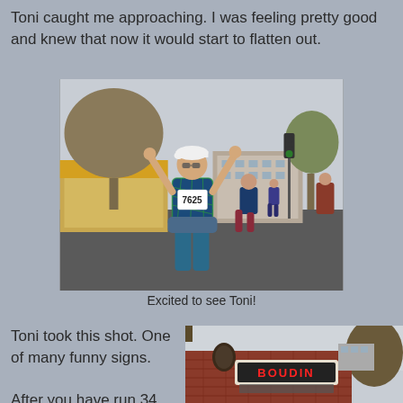Toni caught me approaching. I was feeling pretty good and knew that now it would start to flatten out.
[Figure (photo): Runner with bib number 7625 on a race course, arms raised, wearing a blue shirt and white cap. Other runners visible in background on a city street with trees and buildings.]
Excited to see Toni!
Toni took this shot. One of many funny signs.

After you have run 34 marathons you have
[Figure (photo): Street-level photo showing a Boudin restaurant sign on a brick building with a tree visible to the right and overcast sky.]